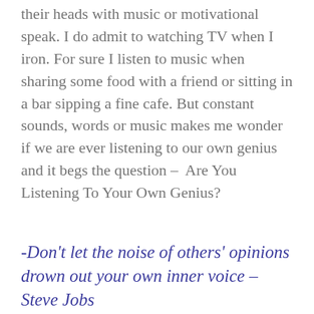their heads with music or motivational speak. I do admit to watching TV when I iron. For sure I listen to music when sharing some food with a friend or sitting in a bar sipping a fine cafe. But constant sounds, words or music makes me wonder if we are ever listening to our own genius and it begs the question – Are You Listening To Your Own Genius?
-Don't let the noise of others' opinions drown out your own inner voice – Steve Jobs
Every day new information, data and news arrives in our in boxes on our phones and